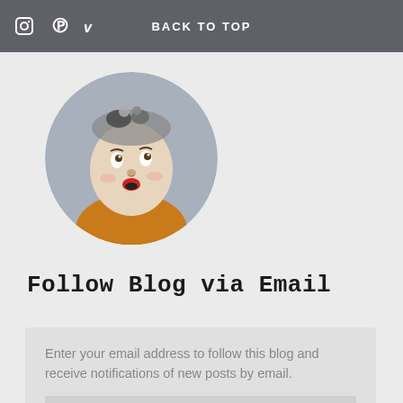BACK TO TOP
[Figure (photo): Circular profile photo of a ceramic/puppet face figure wearing an orange turtleneck and decorative headpiece, looking upward with exaggerated features]
Follow Blog via Email
Enter your email address to follow this blog and receive notifications of new posts by email.
Enter your email address